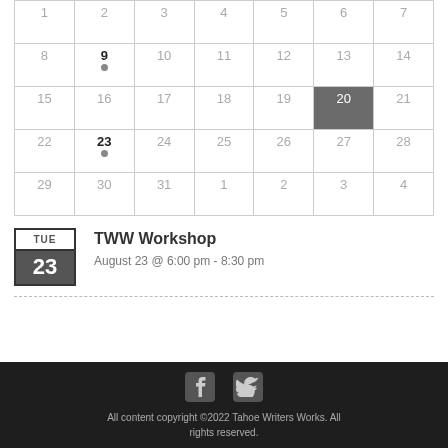| Sun | Mon | Tue | Wed | Thu | Fri | Sat |
| --- | --- | --- | --- | --- | --- | --- |
| 1 | 2 | 3 | 4 | 5 | 6 | 7 |
| 8 | 9 • | 10 | 11 | 12 | 13 | 14 |
| 15 | 16 | 17 | 18 | 19 | 20 | 21 |
| 22 | 23 • | 24 | 25 | 26 | 27 | 28 |
| 29 | 30 | 31 | 1 | 2 | 3 | 4 |
TWW Workshop
August 23 @ 6:00 pm - 8:30 pm
All content copyright ©2022 Tahoe Writers Works. All rights reserved.